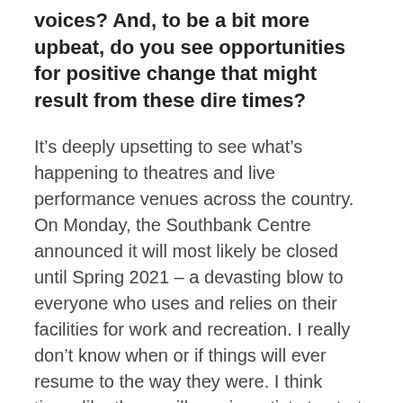voices? And, to be a bit more upbeat, do you see opportunities for positive change that might result from these dire times?
It's deeply upsetting to see what's happening to theatres and live performance venues across the country. On Monday, the Southbank Centre announced it will most likely be closed until Spring 2021 – a devasting blow to everyone who uses and relies on their facilities for work and recreation. I really don't know when or if things will ever resume to the way they were. I think times like these will require artists to start thinking more dynamically about the ways they produce work. How they engage with audiences online and keep sustaining themselves. I've seen several strong initiatives emerge over the last few weeks in aid of supporting